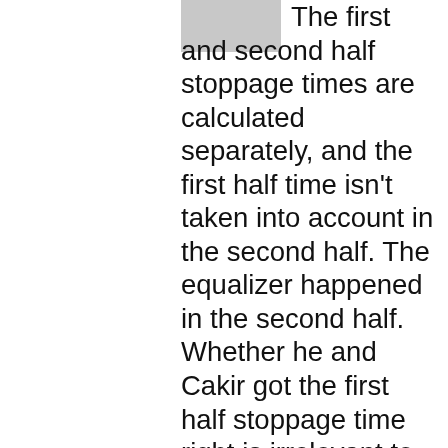[Figure (photo): Small avatar/profile image, gray placeholder, top center-right area]
The first and second half stoppage times are calculated separately, and the first half time isn't taken into account in the second half. The equalizer happened in the second half. Whether he and Cakir got the first half stoppage time right is irrelevant to this piece.
★ Like
Reply
Advertisements
[Figure (screenshot): WooCommerce advertisement banner: purple left section with WooCommerce logo and green arrow, right section with orange and blue decorative blobs and text 'How to start selling subscriptions online']